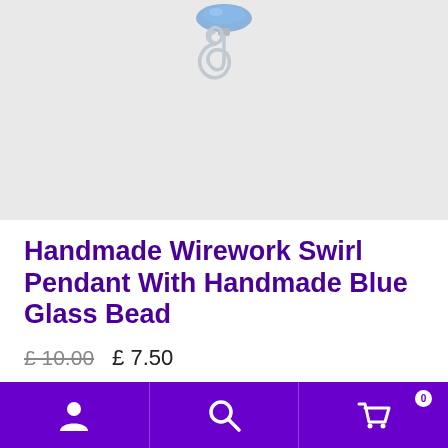[Figure (photo): Close-up photo of a handmade wirework swirl pendant with a blue glass bead, showing spiral wire detail at top on a light background.]
Handmade Wirework Swirl Pendant With Handmade Blue Glass Bead
£10.00  £ 7.50
Buying as a gift and want it sent straight to recipient? Use the ORDER NOTE box to let me know the